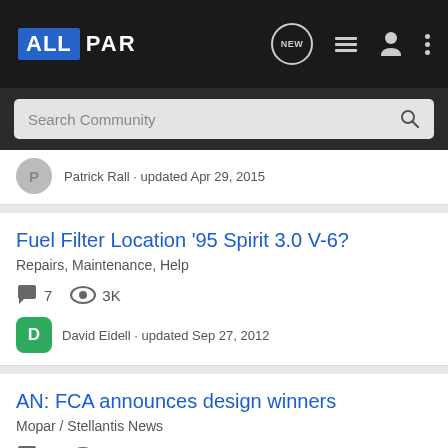ALLPAR — Navigation bar with NEW, list, user, and menu icons
Search Community
Patrick Rall · updated Apr 29, 2015
Fuel Filter Location '95 Spirit 3.0 V-6?
Repairs, Maintenance, Help
7 comments  3K views
David Eidell · updated Sep 27, 2012
AN: FCA announces design winners
Mopar / Stellantis News
9 comments  2K views
All